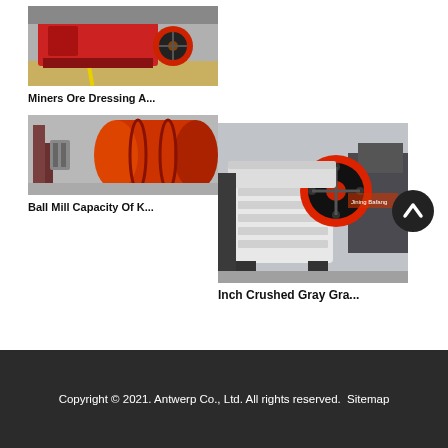[Figure (photo): Industrial machine - Miners Ore Dressing equipment, red machinery in factory]
Miners Ore Dressing A...
[Figure (photo): Ball mill - large cylindrical industrial equipment, red and grey, in factory]
Ball Mill Capacity Of K...
[Figure (photo): Jaw crusher - white machine with red/black flywheel in industrial factory]
Inch Crushed Gray Gra...
Copyright © 2021. Antwerp Co., Ltd. All rights reserved.  Sitemap